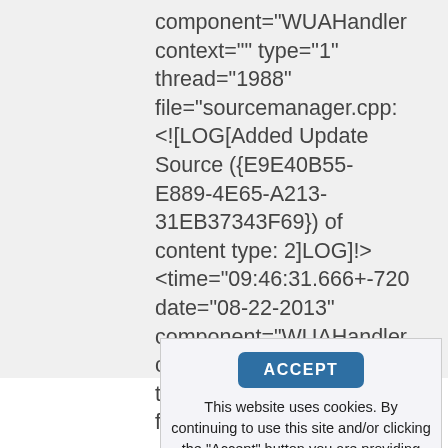component="WUAHandler context="" type="1" thread="1988" file="sourcemanager.cpp: <![LOG[Added Update Source ({E9E40B55-E889-4E65-A213-31EB37343F69}) of content type: 2]LOG]!> <time="09:46:31.666+-720 date="08-22-2013" component="WUAHandler context="" type="1" thread="1988" file="sourcemanager.cpp:
[Figure (screenshot): Cookie consent overlay with ACCEPT button and cookie policy text]
This website uses cookies. By continuing to use this site and/or clicking the "Accept" button you are providing consent Quest Software and its affiliates do NOT sell the Personal Data you provide to us either when you register on our websites or